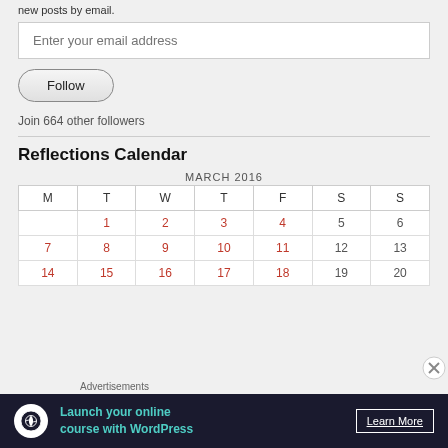new posts by email.
Enter your email address
Follow
Join 664 other followers
Reflections Calendar
| M | T | W | T | F | S | S |
| --- | --- | --- | --- | --- | --- | --- |
|  | 1 | 2 | 3 | 4 | 5 | 6 |
| 7 | 8 | 9 | 10 | 11 | 12 | 13 |
| 14 | 15 | 16 | 17 | 18 | 19 | 20 |
MARCH 2016
Advertisements
[Figure (infographic): Dark advertisement banner: Launch your online course with WordPress. Learn More button.]